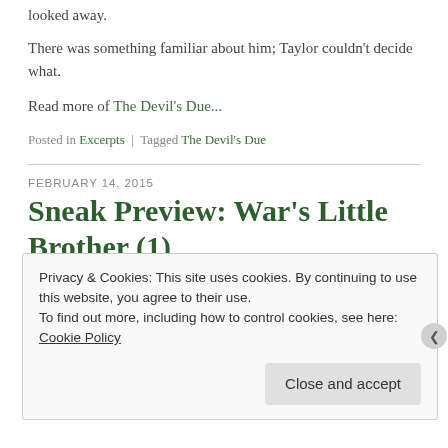looked away.
There was something familiar about him; Taylor couldn't decide what.
Read more of The Devil's Due...
Posted in Excerpts | Tagged The Devil's Due
FEBRUARY 14, 2015
Sneak Preview: War's Little Brother (1)
Privacy & Cookies: This site uses cookies. By continuing to use this website, you agree to their use.
To find out more, including how to control cookies, see here: Cookie Policy
Close and accept